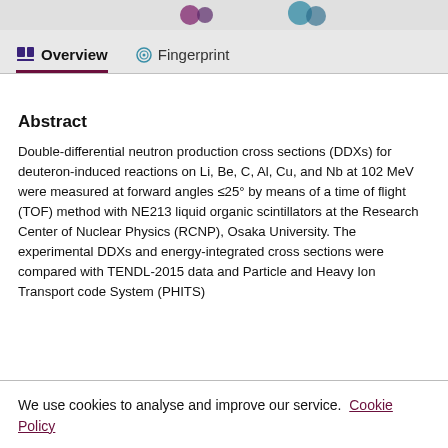[Figure (other): Top navigation bar with publisher logos (partially cropped) on grey background]
Overview   Fingerprint
Abstract
Double-differential neutron production cross sections (DDXs) for deuteron-induced reactions on Li, Be, C, Al, Cu, and Nb at 102 MeV were measured at forward angles ≤25° by means of a time of flight (TOF) method with NE213 liquid organic scintillators at the Research Center of Nuclear Physics (RCNP), Osaka University. The experimental DDXs and energy-integrated cross sections were compared with TENDL-2015 data and Particle and Heavy Ion Transport code System (PHITS)
We use cookies to analyse and improve our service. Cookie Policy